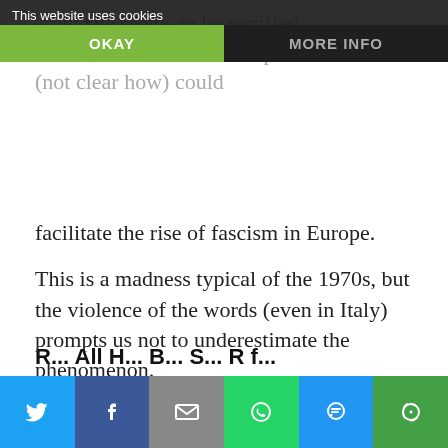– but she seems to be terrified between Burke and the Trump (not clear how) could facilitate the rise of fascism in Europe.
This is a madness typical of the 1970s, but the violence of the words (even in Italy) prompts us not to underestimate the phenomenon.
The Dossier and Undermining the Pope in the